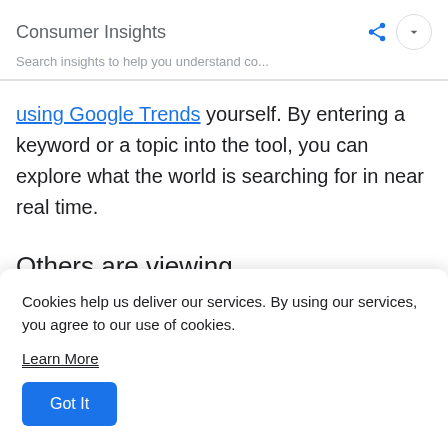Consumer Insights
Search insights to help you understand co...
using Google Trends yourself. By entering a keyword or a topic into the tool, you can explore what the world is searching for in near real time.
Others are viewing
Cookies help us deliver our services. By using our services, you agree to our use of cookies.
Learn More
Got It